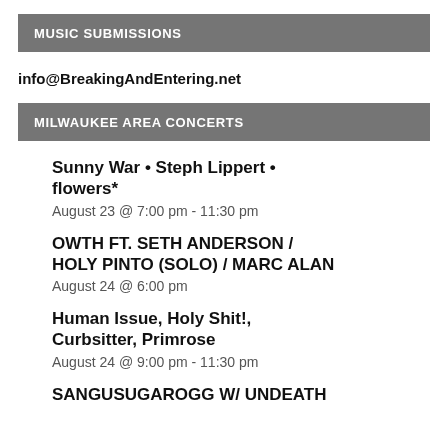MUSIC SUBMISSIONS
info@BreakingAndEntering.net
MILWAUKEE AREA CONCERTS
Sunny War • Steph Lippert • flowers*
August 23 @ 7:00 pm - 11:30 pm
OWTH FT. SETH ANDERSON / HOLY PINTO (SOLO) / MARC ALAN
August 24 @ 6:00 pm
Human Issue, Holy Shit!, Curbsitter, Primrose
August 24 @ 9:00 pm - 11:30 pm
SANGUSUGAROGG W/ UNDEATH